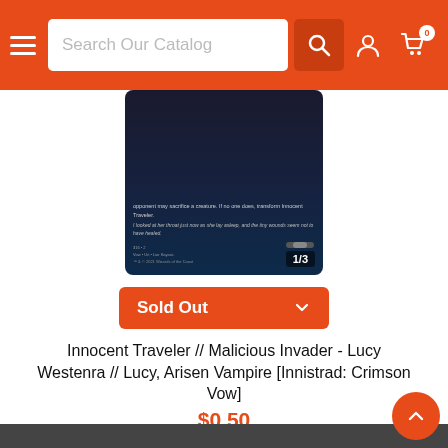Search Our Catalog
[Figure (photo): Magic: The Gathering card - Innocent Traveler / Malicious Invader showing back face of a creature card with flavor text and 1/3 power/toughness]
Sold Out
Innocent Traveler // Malicious Invader - Lucy Westenra // Lucy, Arisen Vampire [Innistrad: Crimson Vow]
$0.50